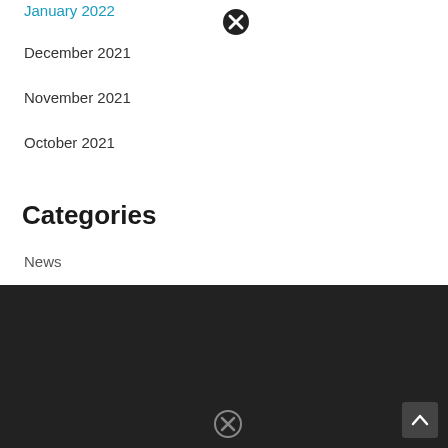January 2022
December 2021
November 2021
October 2021
Categories
News